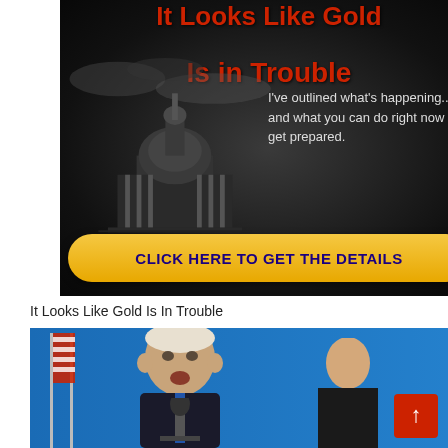[Figure (illustration): Advertisement image with dark background showing US Capitol building silhouette, red text headline 'It Looks Like Gold Is in Trouble', white body text 'I've outlined what's happening... and what you can do right now to get prepared.', and a yellow call-to-action button 'CLICK HERE TO GET THE DETAILS']
It Looks Like Gold Is In Trouble
[Figure (photo): Photo of an older man speaking at a podium with American flags in the background against a blue backdrop, with another person partially visible on the right]